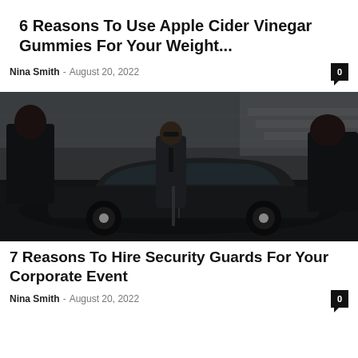6 Reasons To Use Apple Cider Vinegar Gummies For Your Weight...
Nina Smith - August 20, 2022
[Figure (photo): Men in black suits standing around a black luxury car, one man in center wearing sunglasses, security guards scene]
7 Reasons To Hire Security Guards For Your Corporate Event
Nina Smith - August 20, 2022